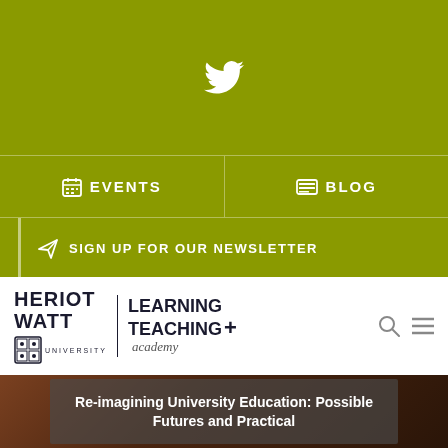[Figure (logo): Twitter bird icon centered on olive/yellow-green background header bar]
EVENTS | BLOG
SIGN UP FOR OUR NEWSLETTER
[Figure (logo): Heriot Watt University Learning Teaching+ Academy logo with crest, search icon and menu icon]
Re-imagining University Education: Possible Futures and Practical